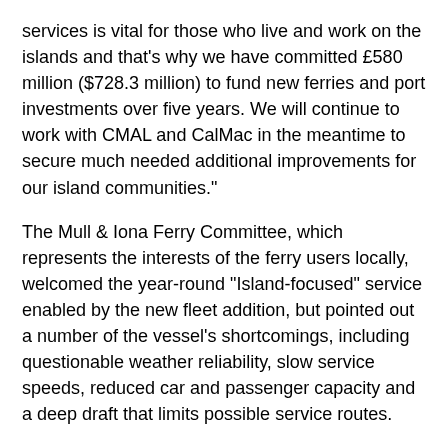services is vital for those who live and work on the islands and that's why we have committed £580 million ($728.3 million) to fund new ferries and port investments over five years. We will continue to work with CMAL and CalMac in the meantime to secure much needed additional improvements for our island communities."
The Mull & Iona Ferry Committee, which represents the interests of the ferry users locally, welcomed the year-round "Island-focused" service enabled by the new fleet addition, but pointed out a number of the vessel's shortcomings, including questionable weather reliability, slow service speeds, reduced car and passenger capacity and a deep draft that limits possible service routes.
"The Utne was designed for service in a sheltered Norwegian fjord, on a crossing of just 2.5 miles. Her low power in conjunction with her small size leads many to predict plenty of cancellations in winter," according to the committee. "With a